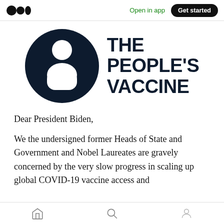Open in app | Get started
[Figure (logo): The People's Vaccine logo: dark navy circle with silhouette figure cutout on left, bold text 'THE PEOPLE'S VACCINE' on right]
Dear President Biden,
We the undersigned former Heads of State and Government and Nobel Laureates are gravely concerned by the very slow progress in scaling up global COVID-19 vaccine access and